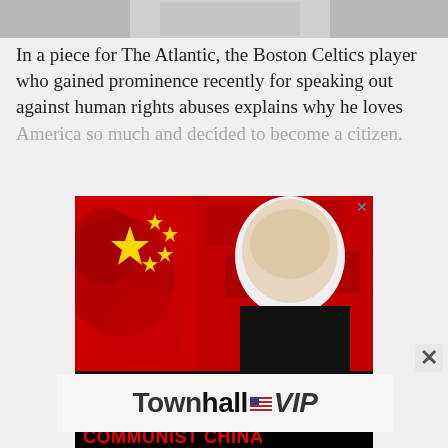[Figure (photo): Grayscale image at top of page, partially visible]
In a piece for The Atlantic, the Boston Celtics player who gained prominence recently for speaking out against human rights abuses explains why he loves America so much and decided to become a citizen.
[Figure (infographic): Advertisement image showing Chinese flag, currency, and a political figure with text 'HELP US EXPOSE THE THREAT OF COMMUNIST CHINA']
[Figure (logo): Townhall VIP advertisement banner]